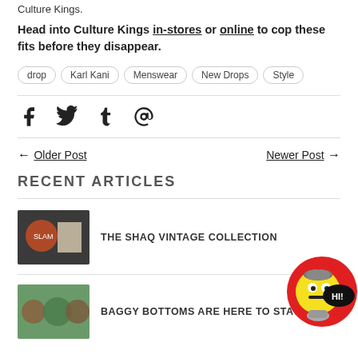Culture Kings.
Head into Culture Kings in-stores or online to cop these fits before they disappear.
drop
Karl Kani
Menswear
New Drops
Style
[Figure (other): Social media share icons: Facebook, Twitter, Tumblr, Email]
← Older Post    Newer Post →
RECENT ARTICLES
[Figure (photo): Thumbnail image for The Shaq Vintage Collection article]
THE SHAQ VINTAGE COLLECTION
[Figure (illustration): Cartoon mascot in red circle with HI! speech bubble]
[Figure (photo): Thumbnail image for Baggy Bottoms Are Here To Stay article]
BAGGY BOTTOMS ARE HERE TO STAY!